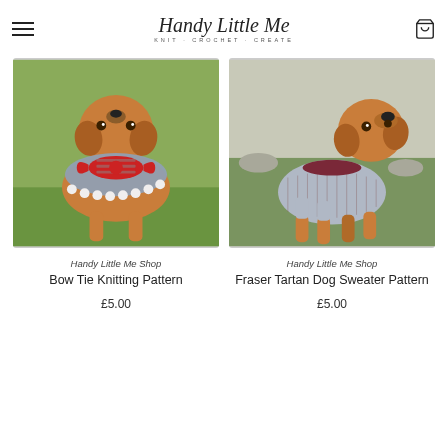Handy Little Me — KNIT · CROCHET · CREATE
[Figure (photo): Dog wearing a knitted grey bandana with red and grey bow tie, white pom-pom trim, sitting outdoors on grass]
Handy Little Me Shop
Bow Tie Knitting Pattern
£5.00
[Figure (photo): Dog wearing a knitted Fraser tartan dog sweater in grey/maroon tones, standing outdoors]
Handy Little Me Shop
Fraser Tartan Dog Sweater Pattern
£5.00